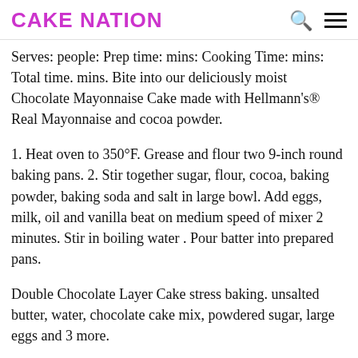CAKE NATION
Serves: people: Prep time: mins: Cooking Time: mins: Total time. mins. Bite into our deliciously moist Chocolate Mayonnaise Cake made with Hellmann's® Real Mayonnaise and cocoa powder.
1. Heat oven to 350°F. Grease and flour two 9-inch round baking pans. 2. Stir together sugar, flour, cocoa, baking powder, baking soda and salt in large bowl. Add eggs, milk, oil and vanilla beat on medium speed of mixer 2 minutes. Stir in boiling water . Pour batter into prepared pans.
Double Chocolate Layer Cake stress baking. unsalted butter, water, chocolate cake mix, powdered sugar, large eggs and 3 more.
So, when I came across a recipe for a chocolate cake that had,